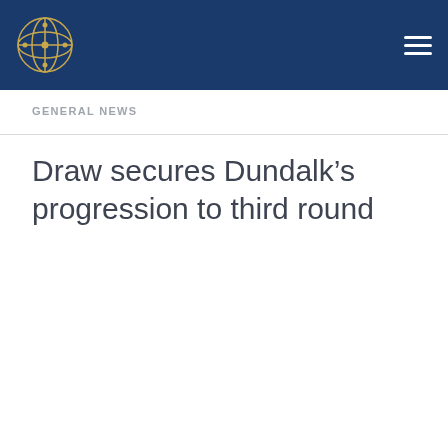[Figure (logo): Circular golden network/globe logo on dark navy blue header background with hamburger menu icon on the right]
GENERAL NEWS
Draw secures Dundalk’s progression to third round